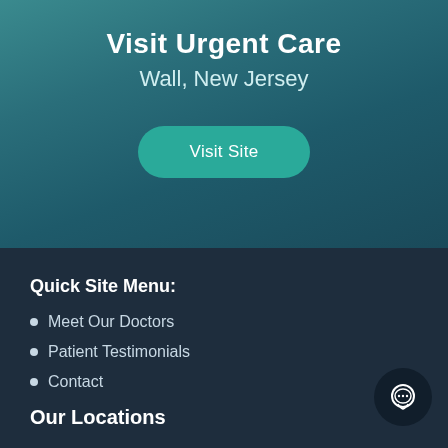Visit Urgent Care
Wall, New Jersey
Visit Site
Quick Site Menu:
Meet Our Doctors
Patient Testimonials
Contact
Our Locations